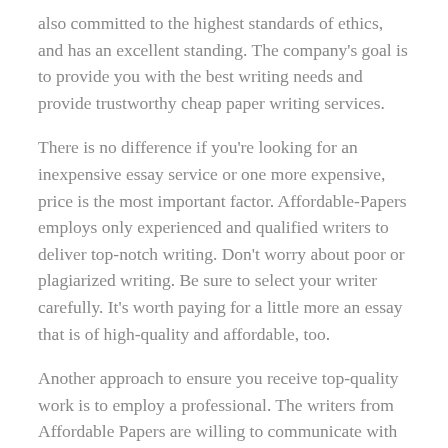also committed to the highest standards of ethics, and has an excellent standing. The company's goal is to provide you with the best writing needs and provide trustworthy cheap paper writing services.
There is no difference if you're looking for an inexpensive essay service or one more expensive, price is the most important factor. Affordable-Papers employs only experienced and qualified writers to deliver top-notch writing. Don't worry about poor or plagiarized writing. Be sure to select your writer carefully. It's worth paying for a little more an essay that is of high-quality and affordable, too.
Another approach to ensure you receive top-quality work is to employ a professional. The writers from Affordable Papers are willing to communicate with you directly and provide guidance. It is possible to share your requirements as well as any particularities of style to them and also your sources